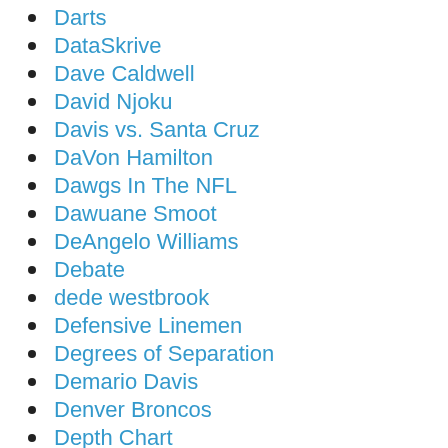Darts
DataSkrive
Dave Caldwell
David Njoku
Davis vs. Santa Cruz
DaVon Hamilton
Dawgs In The NFL
Dawuane Smoot
DeAngelo Williams
Debate
dede westbrook
Defensive Linemen
Degrees of Separation
Demario Davis
Denver Broncos
Depth Chart
Depth Chart